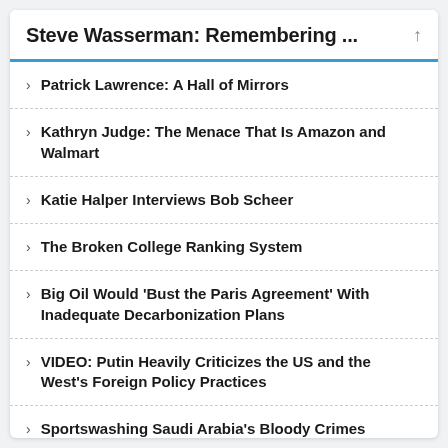Steve Wasserman: Remembering ...
Patrick Lawrence: A Hall of Mirrors
Kathryn Judge: The Menace That Is Amazon and Walmart
Katie Halper Interviews Bob Scheer
The Broken College Ranking System
Big Oil Would 'Bust the Paris Agreement' With Inadequate Decarbonization Plans
VIDEO: Putin Heavily Criticizes the US and the West's Foreign Policy Practices
Sportswashing Saudi Arabia's Bloody Crimes
The Common Medications That Make It Hard for Your Body to Cope With Heat Waves